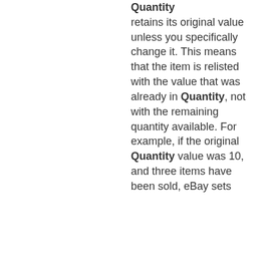Quantity retains its original value unless you specifically change it. This means that the item is relisted with the value that was already in Quantity, not with the remaining quantity available. For example, if the original Quantity value was 10, and three items have been sold, eBay sets